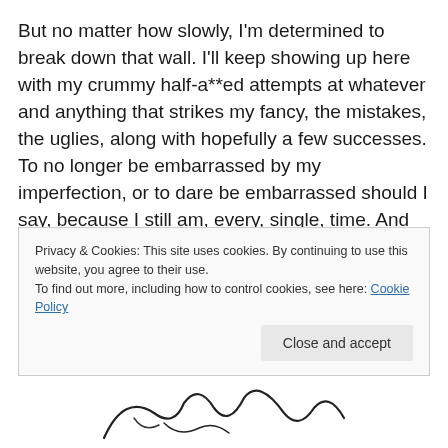But no matter how slowly, I'm determined to break down that wall. I'll keep showing up here with my crummy half-a**ed attempts at whatever and anything that strikes my fancy, the mistakes, the uglies, along with hopefully a few successes. To no longer be embarrassed by my imperfection, or to dare be embarrassed should I say, because I still am, every, single, time. And then I make my finger click "Publish".
Spinning and weaving has made it easier for me to be a willing beginner, but for some reason drawing still has a
Privacy & Cookies: This site uses cookies. By continuing to use this website, you agree to their use.
To find out more, including how to control cookies, see here: Cookie Policy
[Figure (illustration): Partial signature or decorative script illustration at bottom of page]